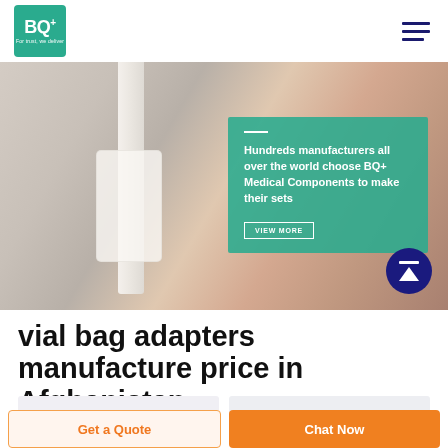BQ+ For trust, we deliver
[Figure (photo): Hero banner showing a medical IV tube/bag adapter component in close-up with blurred red background. Overlaid teal card reads: Hundreds manufacturers all over the world choose BQ+ Medical Components to make their sets. VIEW MORE button.]
vial bag adapters manufacture price in Afghanistan
Get a Quote
Chat Now